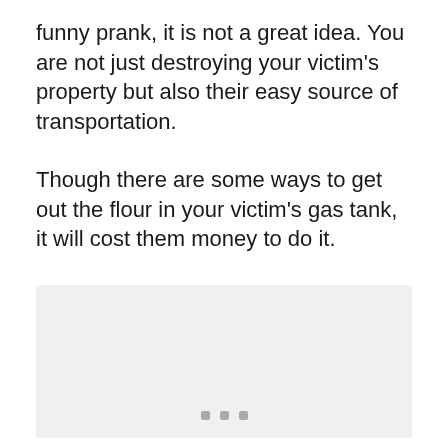funny prank, it is not a great idea. You are not just destroying your victim's property but also their easy source of transportation.
Though there are some ways to get out the flour in your victim's gas tank, it will cost them money to do it.
[Figure (photo): A light gray placeholder image box with three small gray square dots near the bottom center.]